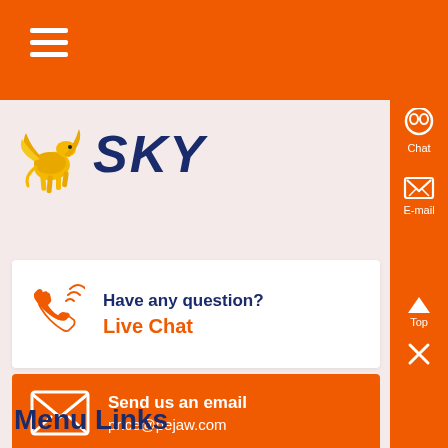Navigation menu header bar with hamburger icon
[Figure (logo): Pegasus/horse figure with 'SKY' text in dark blue handwritten style]
Have any question?
Live Chat
Send us an email
price@pejaw.com
Menu Links